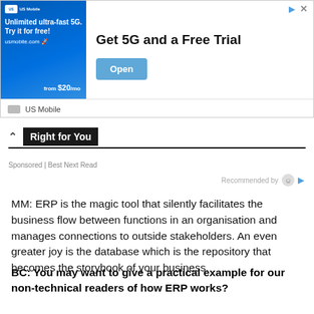[Figure (other): Advertisement banner for US Mobile: Get 5G and a Free Trial with an Open button]
Right for You
Sponsored | Best Next Read
Recommended by
MM: ERP is the magic tool that silently facilitates the business flow between functions in an organisation and manages connections to outside stakeholders. An even greater joy is the database which is the repository that becomes the storybook of your business.
BC: You may want to give a practical example for our non-technical readers of how ERP works?